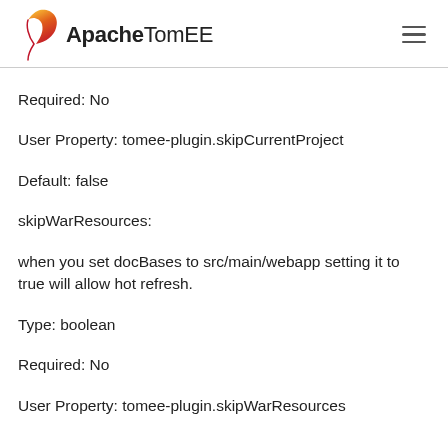Apache TomEE
Required: No
User Property: tomee-plugin.skipCurrentProject
Default: false
skipWarResources:
when you set docBases to src/main/webapp setting it to true will allow hot refresh.
Type: boolean
Required: No
User Property: tomee-plugin.skipWarResources